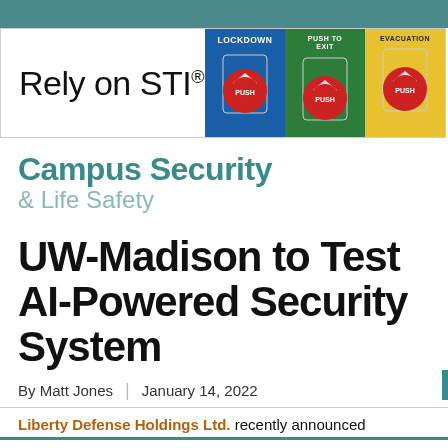[Figure (other): Advertisement banner for STI showing three push button stations: Lockdown (blue), Push to Exit (green), and Evacuation (yellow), with text 'Rely on STI®']
Campus Security & Life Safety
UW-Madison to Test AI-Powered Security System
By Matt Jones | January 14, 2022
Liberty Defense Holdings Ltd. recently announced